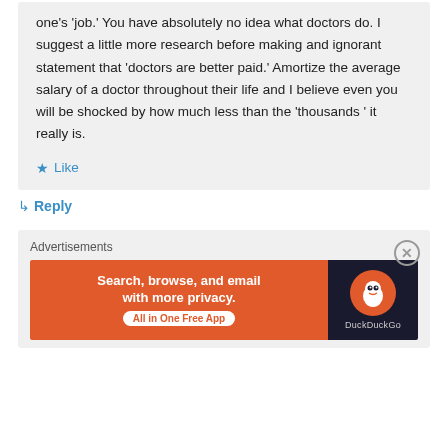one's 'job.' You have absolutely no idea what doctors do. I suggest a little more research before making and ignorant statement that 'doctors are better paid.' Amortize the average salary of a doctor throughout their life and I believe even you will be shocked by how much less than the 'thousands ' it really is.
★ Like
↳ Reply
Advertisements
[Figure (other): DuckDuckGo advertisement banner: orange background with text 'Search, browse, and email with more privacy. All in One Free App' and DuckDuckGo logo on dark background]